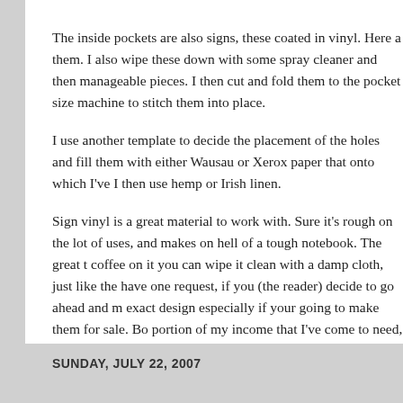The inside pockets are also signs, these coated in vinyl. Here a them. I also wipe these down with some spray cleaner and then manageable pieces. I then cut and fold them to the pocket size machine to stitch them into place.
I use another template to decide the placement of the holes and fill them with either Wausau or Xerox paper that onto which I've I then use hemp or Irish linen.
Sign vinyl is a great material to work with. Sure it's rough on the lot of uses, and makes on hell of a tough notebook. The great t coffee on it you can wipe it clean with a damp cloth, just like the have one request, if you (the reader) decide to go ahead and m exact design especially if your going to make them for sale. Bo portion of my income that I've come to need, so snagging my d
at July 25, 2007   4 comments:
Labels: recycled
SUNDAY, JULY 22, 2007